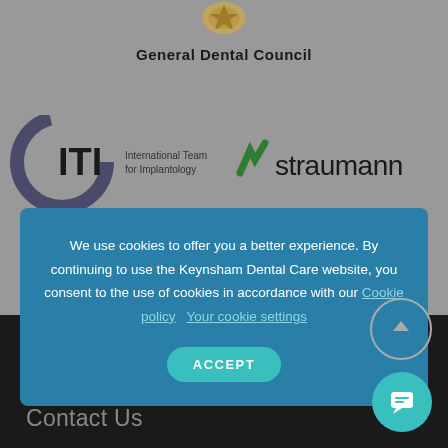[Figure (logo): General Dental Council crest and text logo at top center]
[Figure (logo): ITI International Team for Implantology circular logo on left]
[Figure (logo): Straumann logo in green on right]
We use cookies to offer you a better experience. By continuing to use the Keynsham Dental Care website, you consent to the use of cookies in accordance with our Cookie policy   Your cookie settings
ACCEPT
Contact Us